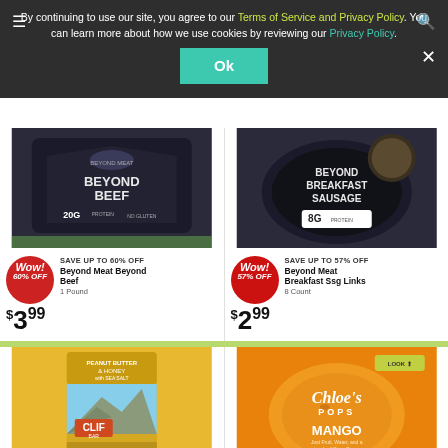By continuing to use our site, you agree to our Terms of Service and Privacy Policy. You can learn more about how we use cookies by reviewing our Privacy Policy.
Ok
[Figure (photo): Beyond Meat Beyond Beef package, dark background]
Wow! 60% OFF
SAVE UP TO 60% OFF
Beyond Meat Beyond Beef
1 Pound
$3.99
[Figure (photo): Beyond Meat Breakfast Sausage Links package, dark background]
Wow! 57% OFF
SAVE UP TO 57% OFF
Beyond Meat Breakfast Ssg Links
8 Count
$2.99
[Figure (photo): CLIF Bar Peanut Butter & Honey with Sea Salt package, yellow background]
Wow!
SAVE UP TO 50% OFF
[Figure (photo): Chloe's Pops Mango frozen pops package, orange background]
SAVE UP TO 43% OFF